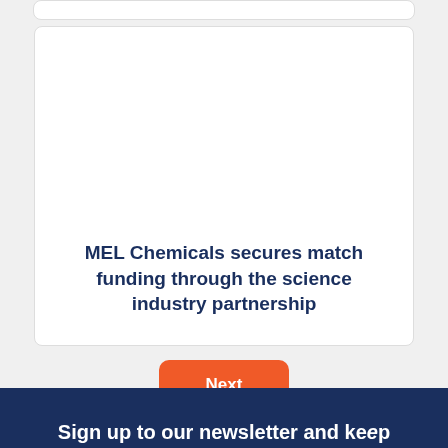MEL Chemicals secures match funding through the science industry partnership
Next
Sign up to our newsletter and keep up